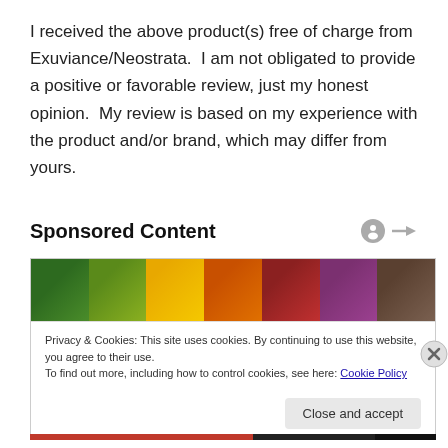I received the above product(s) free of charge from Exuviance/Neostrata.  I am not obligated to provide a positive or favorable review, just my honest opinion.  My review is based on my experience with the product and/or brand, which may differ from yours.
Sponsored Content
[Figure (photo): Colorful assortment of vegetables including broccoli, yellow squash, bell peppers, carrots, tomatoes, onions, and other produce arranged side by side]
Privacy & Cookies: This site uses cookies. By continuing to use this website, you agree to their use.
To find out more, including how to control cookies, see here: Cookie Policy
Close and accept